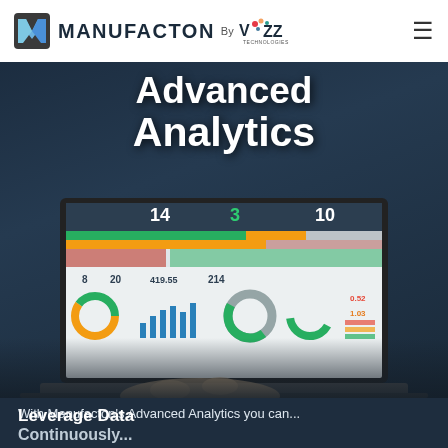MANUFACTON By VIZZ TECHNOLOGIES
Advanced Analytics
[Figure (screenshot): Laptop screen showing a manufacturing analytics dashboard with KPI widgets, donut charts, bar charts, and gauge charts displaying metrics like 14, 3, 10, 8, 20, 419.55, 214, 0.52, 1.03]
With Manufacton's Advanced Analytics you can...
Leverage Data
Continuously...